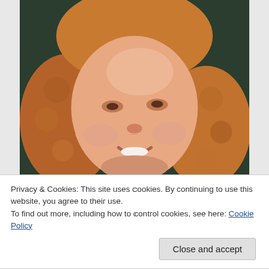[Figure (photo): Close-up portrait photo of a smiling woman with curly reddish-blonde hair against a dark background.]
Privacy & Cookies: This site uses cookies. By continuing to use this website, you agree to their use.
To find out more, including how to control cookies, see here: Cookie Policy
Close and accept
[Figure (photo): Partial view of another photo at the bottom of the page, showing reddish tones consistent with another portrait.]